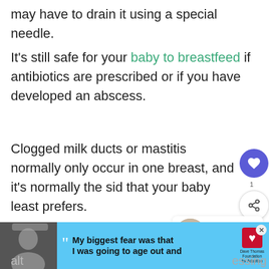may have to drain it using a special needle.
It's still safe for your baby to breastfeed if antibiotics are prescribed or if you have developed an abscess.
Clogged milk ducts or mastitis normally only occur in one breast, and it's normally the side that your baby least prefers.
To avoid blocked ducts, it's important to
[Figure (screenshot): Advertisement banner: Dave Thomas Foundation for Adoption with quote 'My biggest fear was that I was going to age out and']
alt...essing
m...